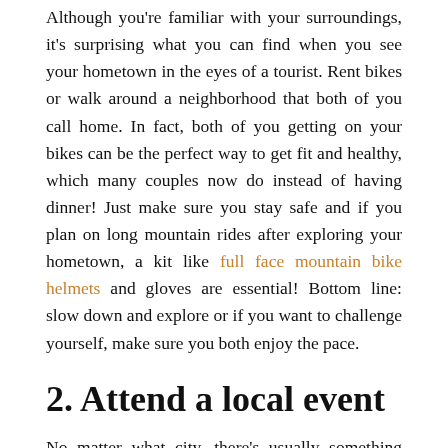Although you're familiar with your surroundings, it's surprising what you can find when you see your hometown in the eyes of a tourist. Rent bikes or walk around a neighborhood that both of you call home. In fact, both of you getting on your bikes can be the perfect way to get fit and healthy, which many couples now do instead of having dinner! Just make sure you stay safe and if you plan on long mountain rides after exploring your hometown, a kit like full face mountain bike helmets and gloves are essential! Bottom line: slow down and explore or if you want to challenge yourself, make sure you both enjoy the pace.
2. Attend a local event
No matter what city, there's usually something going on over the weekend that you can participate in — whether it's a free concert outside or a pop-up art show. Do your research and get out of your comfort zone with someone you're the most comfortable with. You may find out there's more to your city than you thought.